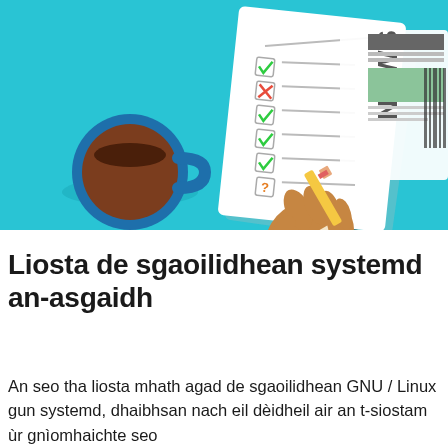[Figure (illustration): Illustration on a teal/cyan background showing a hand holding a pencil writing on a checklist (with checkmarks and an X), a blue coffee cup on the left, and a newspaper (showing 'NEWS') on the right.]
Liosta de sgaoilidhean systemd an-asgaidh
An seo tha liosta mhath agad de sgaoilidhean GNU / Linux gun systemd, dhaibhsan nach eil dèidheil air an t-siostam ùr gnìomhaichte seo